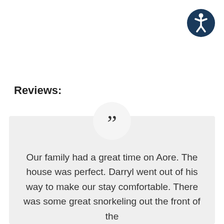[Figure (logo): Accessibility icon: dark blue circle with white stylized human figure (accessibility symbol)]
Reviews:
Our family had a great time on Aore. The house was perfect. Darryl went out of his way to make our stay comfortable. There was some great snorkeling out the front of the